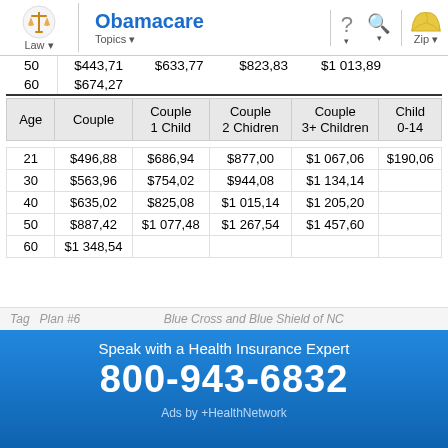Obamacare | Law | Topics | Zip
| Age | Couple | Couple 1 Child | Couple 2 Chidren | Couple 3+ Children | Child 0-14 |
| --- | --- | --- | --- | --- | --- |
| 21 | $496,88 | $686,94 | $877,00 | $1 067,06 | $190,06 |
| 30 | $563,96 | $754,02 | $944,08 | $1 134,14 |  |
| 40 | $635,02 | $825,08 | $1 015,14 | $1 205,20 |  |
| 50 | $887,42 | $1 077,48 | $1 267,54 | $1 457,60 |  |
| 60 | $1 348,54 |  |  |  |  |
Tag  Plan #6   Blue Cross and Blue Shield of NC
Speak with a Health Insurance Expert
800-943-6832
Ads by +HealthNetwork